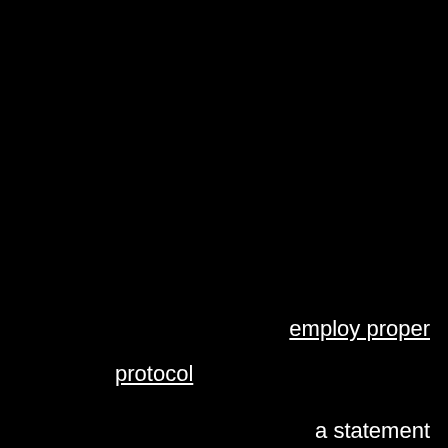employ proper protocol
$7T of which is attributable to your administration credit downgraded for the first time
a statement